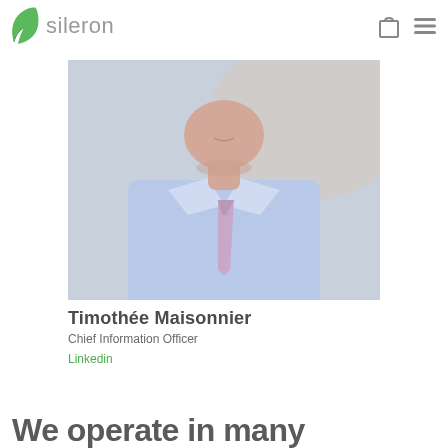sileron
[Figure (photo): Portrait photo of Timothée Maisonnier, a man in a light blue shirt and pink tie, cropped from chin to chest, against a light background.]
Timothée Maisonnier
Chief Information Officer
Linkedin
We operate in many